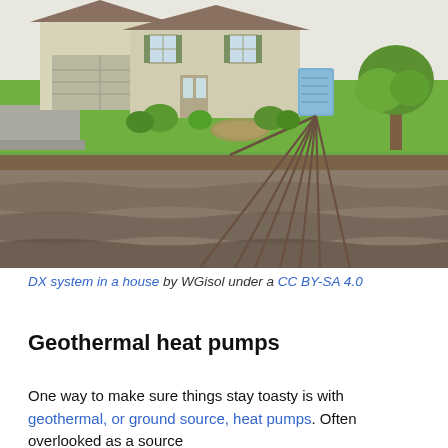[Figure (illustration): Illustration of a DX geothermal heat pump system installed at a house. Shows a cutaway view of a suburban home with a geothermal heat pump unit outside. Underground pipes (ground loops) extend diagonally deep into the earth beneath the front lawn. The cross-section reveals multiple soil and rock layers underground.]
DX system in a house by WGisol under a CC BY-SA 4.0
Geothermal heat pumps
One way to make sure things stay toasty is with geothermal, or ground source, heat pumps. Often overlooked as a source